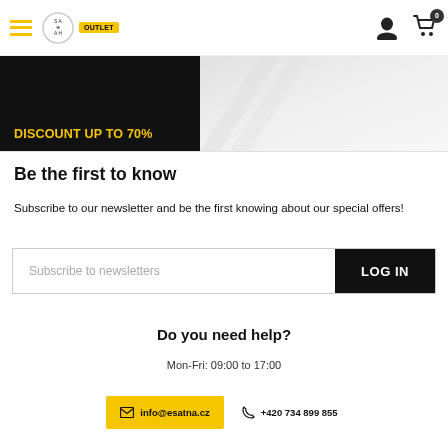ESATNA OUTLET - navigation header with hamburger menu, logo, user icon, and cart
[Figure (screenshot): Black banner with text 'DISCOUNT UP TO 70%' in yellow, alongside a grey gradient area]
Be the first to know
Subscribe to our newsletter and be the first knowing about our special offers!
Subscribe to newsletters | LOG IN
Do you need help?
Mon-Fri: 09:00 to 17:00
info@esatna.cz   +420 734 899 855